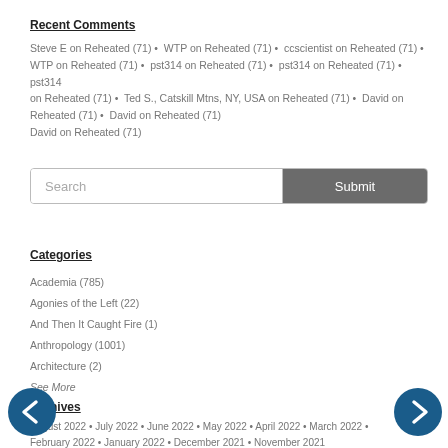Recent Comments
Steve E on Reheated (71) • WTP on Reheated (71) • ccscientist on Reheated (71) • WTP on Reheated (71) • pst314 on Reheated (71) • pst314 on Reheated (71) • pst314 on Reheated (71) • Ted S., Catskill Mtns, NY, USA on Reheated (71) • David on Reheated (71) • David on Reheated (71) • David on Reheated (71)
Search  Submit
Categories
Academia (785)
Agonies of the Left (22)
And Then It Caught Fire (1)
Anthropology (1001)
Architecture (2)
See More
Archives
August 2022 • July 2022 • June 2022 • May 2022 • April 2022 • March 2022 • February 2022 • January 2022 • December 2021 • November 2021